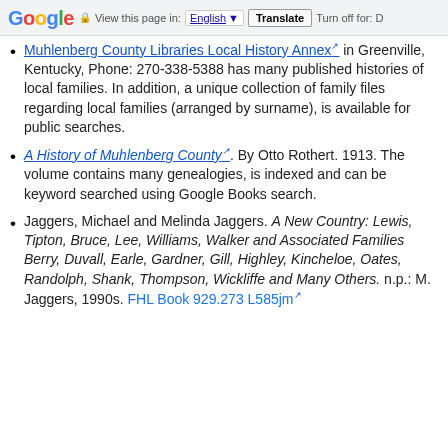Google  View this page in: English [▼]  Translate  Turn off for: D
Muhlenberg County Libraries Local History Annex [external link] in Greenville, Kentucky, Phone: 270-338-5388 has many published histories of local families. In addition, a unique collection of family files regarding local families (arranged by surname), is available for public searches.
A History of Muhlenberg County [external link]. By Otto Rothert. 1913. The volume contains many genealogies, is indexed and can be keyword searched using Google Books search.
Jaggers, Michael and Melinda Jaggers. A New Country: Lewis, Tipton, Bruce, Lee, Williams, Walker and Associated Families Berry, Duvall, Earle, Gardner, Gill, Highley, Kincheloe, Oates, Randolph, Shank, Thompson, Wickliffe and Many Others. n.p.: M. Jaggers, 1990s. FHL Book 929.273 L585jm [external link]